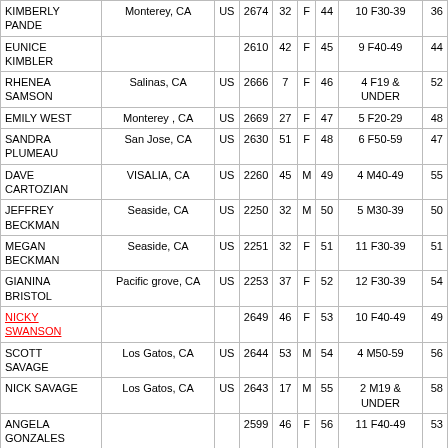| Name | City | Ctry | Bib | Age | Gen | Ovr | Div |  |
| --- | --- | --- | --- | --- | --- | --- | --- | --- |
| KIMBERLY PANDE | Monterey, CA | US | 2674 | 32 | F | 44 | 10 F30-39 | 36 |
| EUNICE KIMBLER |  |  | 2610 | 42 | F | 45 | 9 F40-49 | 44 |
| RHENEA SAMSON | Salinas, CA | US | 2666 | 7 | F | 46 | 4 F19 & UNDER | 52 |
| EMILY WEST | Monterey , CA | US | 2669 | 27 | F | 47 | 5 F20-29 | 48 |
| SANDRA PLUMEAU | San Jose, CA | US | 2630 | 51 | F | 48 | 6 F50-59 | 47 |
| DAVE CARTOZIAN | VISALIA, CA | US | 2260 | 45 | M | 49 | 4 M40-49 | 55 |
| JEFFREY BECKMAN | Seaside, CA | US | 2250 | 32 | M | 50 | 5 M30-39 | 50 |
| MEGAN BECKMAN | Seaside, CA | US | 2251 | 32 | F | 51 | 11 F30-39 | 51 |
| GIANINA BRISTOL | Pacific grove, CA | US | 2253 | 37 | F | 52 | 12 F30-39 | 54 |
| NICKY SWANSON |  |  | 2649 | 46 | F | 53 | 10 F40-49 | 49 |
| SCOTT SAVAGE | Los Gatos, CA | US | 2644 | 53 | M | 54 | 4 M50-59 | 56 |
| NICK SAVAGE | Los Gatos, CA | US | 2643 | 17 | M | 55 | 2 M19 & UNDER | 58 |
| ANGELA GONZALES |  |  | 2599 | 46 | F | 56 | 11 F40-49 | 53 |
| DOUG PORTER | Highlands Ranch, CO | US | 2633 | 73 | M | 57 | 1 M70 & OVER | 59 |
| IRAIS ROJAS |  |  | 2641 | 32 | F | 58 | 13 F30-39 | 69 |